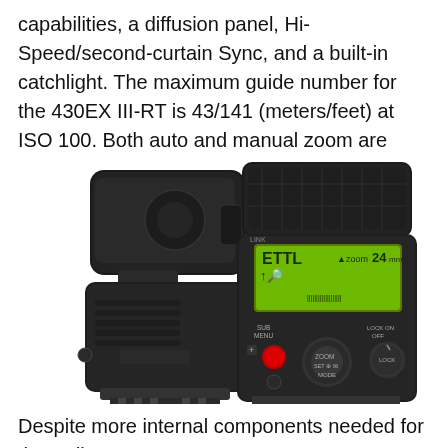capabilities, a diffusion panel, Hi-Speed/second-curtain Sync, and a built-in catchlight. The maximum guide number for the 430EX III-RT is 43/141 (meters/feet) at ISO 100. Both auto and manual zoom are available from 24–105mm.
[Figure (photo): Two views of the Canon 430EX III-RT Speedlite flash unit — left side profile showing the flash head tilted up with diffusion panel, and right front view showing the LCD display with ETTL 24mm zoom setting, controls including SUB MENU, ZOOM, LOCK ON/OFF buttons, and red AF-assist beam emitter, both units on black backgrounds.]
Despite more internal components needed for the radio